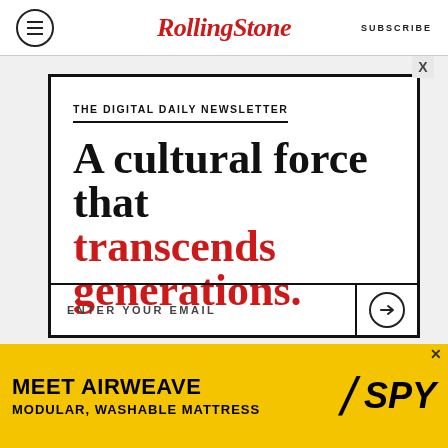RollingStone — SUBSCRIBE
THE DIGITAL DAILY NEWSLETTER
A cultural force that transcends generations.
ENTER YOUR EMAIL
[Figure (infographic): MEET AIRWEAVE MODULAR, WASHABLE MATTRESS — SPY advertisement banner in yellow and black]